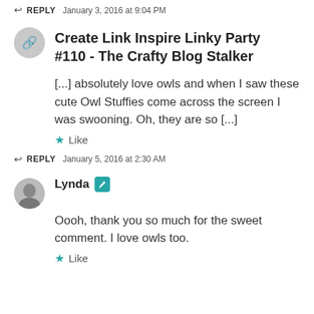↩ REPLY   JANUARY 3, 2016 AT 9:04 PM
Create Link Inspire Linky Party #110 - The Crafty Blog Stalker
[...] absolutely love owls and when I saw these cute Owl Stuffies come across the screen I was swooning. Oh, they are so [...]
★ Like
↩ REPLY   JANUARY 5, 2016 AT 2:30 AM
Lynda
Oooh, thank you so much for the sweet comment. I love owls too.
★ Like